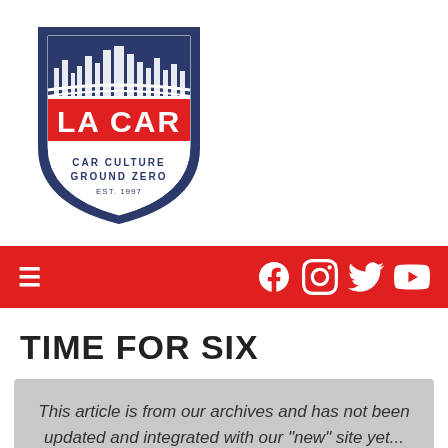[Figure (logo): LA CAR shield logo with city skyline, red and navy blue, 'CAR CULTURE GROUND ZERO EST. 1997']
[Figure (infographic): Red navigation bar with hamburger menu icon on left and social media icons (Facebook, Instagram, Twitter, YouTube) on right in white]
TIME FOR SIX
This article is from our archives and has not been updated and integrated with our "new" site yet... Even so, it's still awesome - so keep reading!